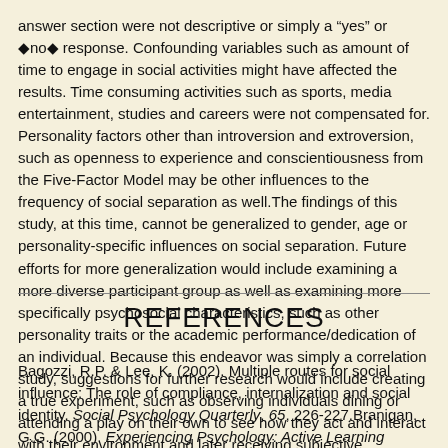answer section were not descriptive or simply a "yes" or "no" response. Confounding variables such as amount of time to engage in social activities might have affected the results. Time consuming activities such as sports, media entertainment, studies and careers were not compensated for. Personality factors other than introversion and extroversion, such as openness to experience and conscientiousness from the Five-Factor Model may be other influences to the frequency of social separation as well.The findings of this study, at this time, cannot be generalized to gender, age or personality-specific influences on social separation. Future efforts for more generalization would include examining a more diverse participant group as well as examining more specifically psychosocial characteristics, such as other personality traits or the academic performance/dedication of an individual. Because this endeavor was simply a correlation study, suggestions for further research would include creating a true experiment, such as observing individuals dining or attending a play on their own to see how they act and interact with their environment and later receiving subjective feedback.
REFERENCES
Bagozzi, R.P. & Lee, K. (2002). Multiple routes for social influence: The role of compliance, internalization and social identity. Social Psychology Quarterly, 65, 226-227.Branigan, G.G. (2000). Experiencing Psychology: Active Learning Adventures. New Jersey: Prentice Hall.Eddleman, S. (2003). Enforcing principles of equity: A